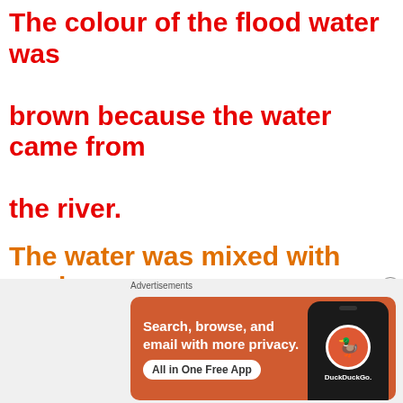The colour of the flood water was brown because the water came from the river.
The water was mixed with mud.
The water moved very fast.
[Figure (illustration): DuckDuckGo advertisement banner with orange background, showing phone with DuckDuckGo logo. Text reads: Search, browse, and email with more privacy. All in One Free App.]